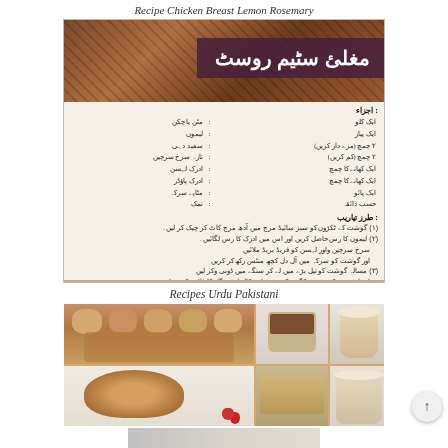Recipe Chicken Breast Lemon Rosemary
[Figure (photo): Urdu recipe card for Mughlai Steam Roast (مغلئ سٹیم روسٹ) showing a grilled meat photo at top with a purple title banner, followed by ingredients list and cooking instructions in Urdu text on a light background]
Recipes Urdu Pakistani
[Figure (photo): Food collage showing multiple Pakistani/Urdu recipe dishes including baked goods, a chocolate dessert in a cup, a milkshake, sticky pull-apart bread with a strawberry, a cereal/nut bar, and a cream dessert drink, arranged in a grid layout]